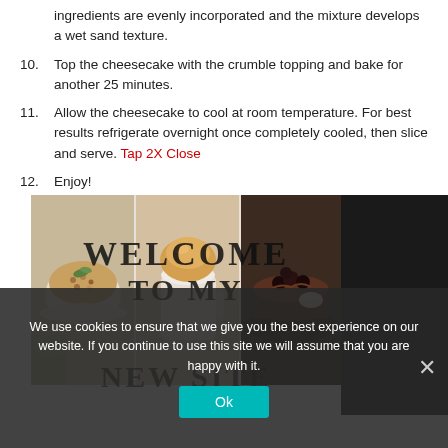ingredients are evenly incorporated and the mixture develops a wet sand texture.
10. Top the cheesecake with the crumble topping and bake for another 25 minutes.
11. Allow the cheesecake to cool at room temperature. For best results refrigerate overnight once completely cooled, then slice and serve. Tap 2X Close
12. Enjoy!
[Figure (photo): Grid of food photos showing grain dishes, baked goods, and chocolate cake, with 'WELCOME TO MY NEW SITE' text overlay]
We use cookies to ensure that we give you the best experience on our website. If you continue to use this site we will assume that you are happy with it.